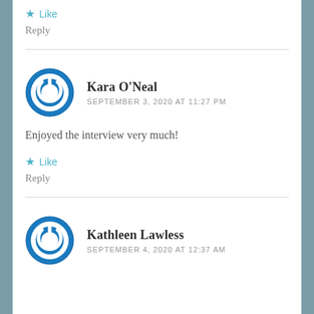★ Like
Reply
[Figure (logo): Blue circular power button icon for Kara O'Neal]
Kara O'Neal
SEPTEMBER 3, 2020 AT 11:27 PM
Enjoyed the interview very much!
★ Like
Reply
[Figure (logo): Blue circular power button icon for Kathleen Lawless]
Kathleen Lawless
SEPTEMBER 4, 2020 AT 12:37 AM